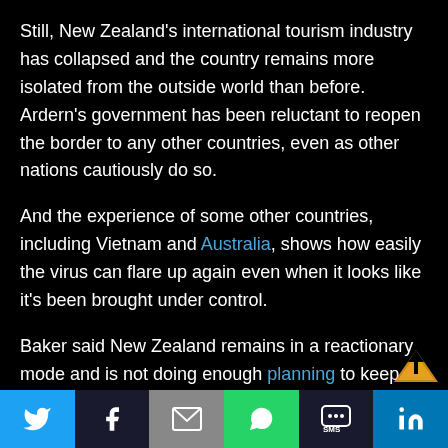Still, New Zealand's international tourism industry has collapsed and the country remains more isolated from the outside world than before. Ardern's government has been reluctant to reopen the border to any other countries, even as other nations cautiously do so.
And the experience of some other countries, including Vietnam and Australia, shows how easily the virus can flare up again even when it looks like it's been brought under control.
Baker said New Zealand remains in a reactionary mode and is not doing enough planning to keep the virus out. He said the country needs to create a national public health agency and better fund scientists studying the spread of the disease.